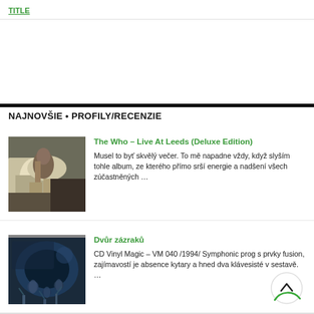TITLE
NAJNOVŠIE • PROFILY/RECENZIE
[Figure (photo): Album cover photo showing a person with a white horse, The Who – Live At Leeds]
The Who – Live At Leeds (Deluxe Edition)
Musel to byť skvělý večer. To mě napadne vždy, když slyším tohle album, ze kterého přímo srší energie a nadšení všech zúčastněných …
[Figure (photo): Album cover photo for Dvůr zázraků, dark image with figurines]
Dvůr zázraků
CD Vinyl Magic – VM 040  /1994/ Symphonic prog s prvky fusion, zajímavostí je absence kytary a hned dva klávesisté v sestavě. …